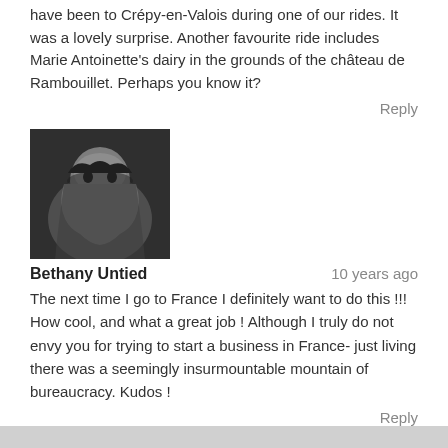have been to Crépy-en-Valois during one of our rides. It was a lovely surprise. Another favourite ride includes Marie Antoinette's dairy in the grounds of the château de Rambouillet. Perhaps you know it?
Reply
[Figure (photo): Black and white headshot photo of Bethany Untied, a woman with dark hair]
Bethany Untied   10 years ago
The next time I go to France I definitely want to do this !!! How cool, and what a great job ! Although I truly do not envy you for trying to start a business in France- just living there was a seemingly insurmountable mountain of bureaucracy. Kudos !
Reply
Categories
Vie française
Gastronomie
Mode + Beauté
Reportage + Société